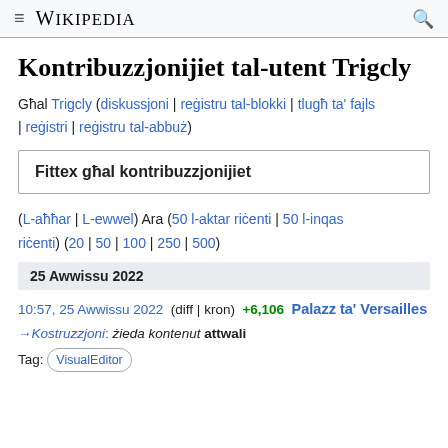≡ WIKIPEDIA 🔍
Kontribuzzjonijiet tal-utent Trigcly
Għal Trigcly (diskussjoni | reġistru tal-blokki | tlugħ ta' fajls | reġistri | reġistru tal-abbuż)
Fittex għal kontribuzzjonijiet
(L-aħħar | L-ewwel) Ara (50 l-aktar riċenti | 50 l-inqas riċenti) (20 | 50 | 100 | 250 | 500)
25 Awwissu 2022
10:57, 25 Awwissu 2022 (diff | kron) +6,106 Palazz ta' Versailles →Kostruzzjoni: żieda kontenut attwali
Tag: VisualEditor